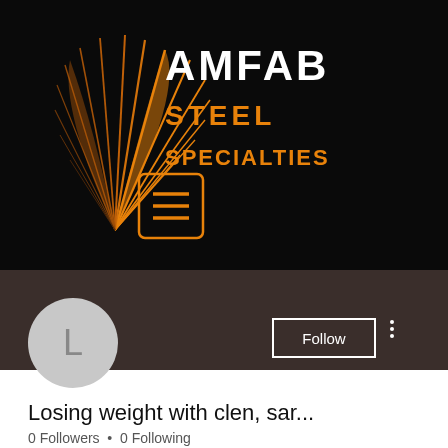[Figure (logo): AMFAB Steel Specialties logo on black background with orange feather-like graphic and text, plus hamburger menu icon]
[Figure (photo): Gray circle avatar with letter L]
Follow
Losing weight with clen, sar...
0 Followers • 0 Following